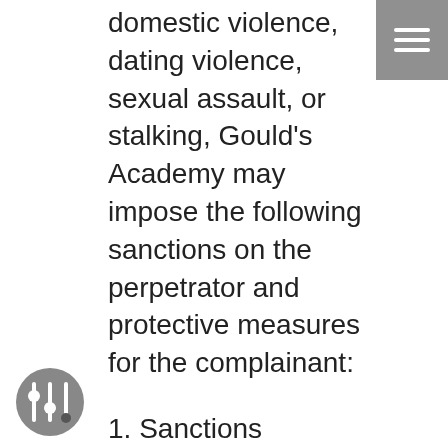domestic violence, dating violence, sexual assault, or stalking, Gould's Academy may impose the following sanctions on the perpetrator and protective measures for the complainant:
1. Sanctions
Sanction that may be imposed by Gould's Academy include, but are not limited to:
Written warning;
Mandatory counseling;
Mandatory education and training;